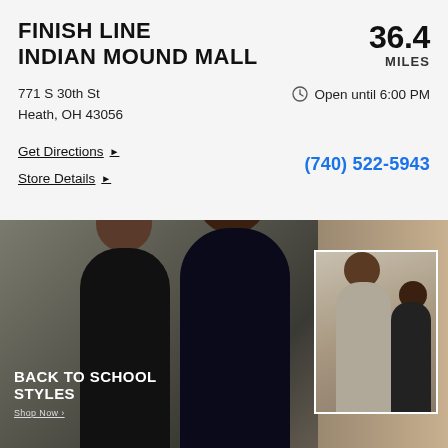FINISH LINE
INDIAN MOUND MALL
36.4 MILES
771 S 30th St
Heath, OH 43056
Open until 6:00 PM
Get Directions ▶
Store Details ▶
(740) 522-5943
[Figure (photo): Back to school promotional image showing two young people in dark athletic wear standing in front of a concrete wall, with a smaller inset image of a child in a grey hoodie. Text overlay reads BACK TO SCHOOL STYLES with Shop Now link.]